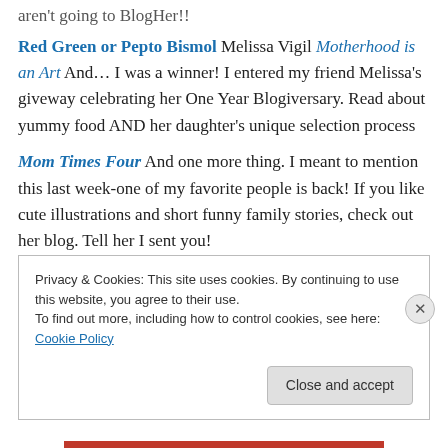aren't going to BlogHer!!
Red Green or Pepto Bismol Melissa Vigil Motherhood is an Art And… I was a winner!  I entered my friend Melissa's giveway celebrating her One Year Blogiversary.  Read about yummy food AND her daughter's unique selection process
Mom Times Four And one more thing.  I meant to mention this last week-one of my favorite people is back!  If you like cute illustrations and short funny family stories, check out her blog.  Tell her I sent you!
Privacy & Cookies: This site uses cookies. By continuing to use this website, you agree to their use.
To find out more, including how to control cookies, see here: Cookie Policy